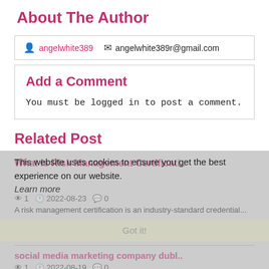About The Author
angelwhite389   angelwhite389r@gmail.com
Add a Comment
You must be logged in to post a comment.
Related Post
What Is Risk Management Certificati..
This website uses cookies to ensure you get the best experience on our website. Learn more
1   2022-08-23   0
A risk management certification is an industry-standard credential...
Got it!
social media marketing company dubl..
1   2022-08-19   0